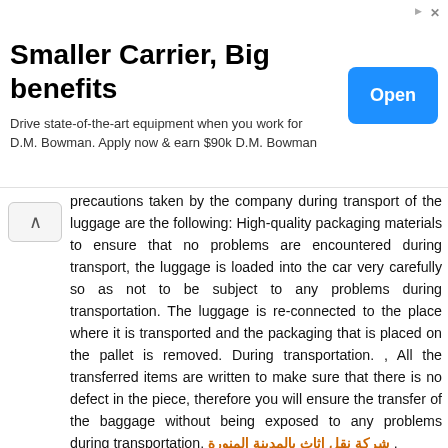[Figure (other): Advertisement banner: 'Smaller Carrier, Big benefits' with subtitle 'Drive state-of-the-art equipment when you work for D.M. Bowman. Apply now & earn $90k D.M. Bowman' and a blue 'Open' button]
precautions taken by the company during transport of the luggage are the following: High-quality packaging materials to ensure that no problems are encountered during transport, the luggage is loaded into the car very carefully so as not to be subject to any problems during transportation. The luggage is re-connected to the place where it is transported and the packaging that is placed on the pallet is removed. During transportation. , All the transferred items are written to make sure that there is no defect in the piece, therefore you will ensure the transfer of the baggage without being exposed to any problems during transportation, شركة نقل اثاث بالمدينة المنورة . Is characterized by شركة تنظيف بالمدينة المنورة With the experience and efficiency in the task of cleaning, as it uses the best equipment and the latest in addition to many aspects that focus on them to ensure that the cleaning is done to the fullest, and the most important things that you find in the fast service company and nowhere else find the